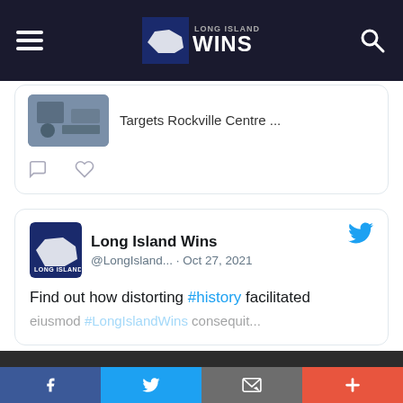Long Island Wins - header navigation bar
[Figure (screenshot): Partial tweet card showing thumbnail image and text 'Targets Rockville Centre ...' with comment and heart icons]
[Figure (screenshot): Tweet card from Long Island Wins @LongIsland... Oct 27, 2021: Find out how distorting #history facilitated...]
Contact Us Now
[Figure (logo): Long Island Wins logo - blue square with map graphic and LONG ISLAND WINS text]
Social share bar: Facebook, Twitter, Email, More